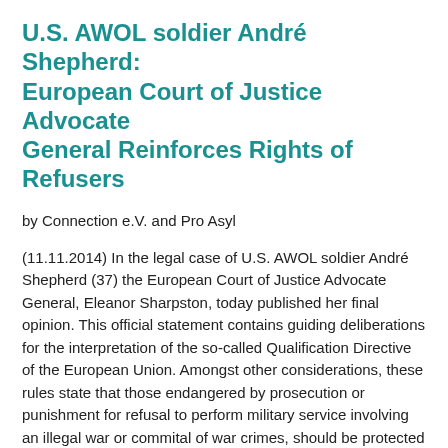U.S. AWOL soldier André Shepherd: European Court of Justice Advocate General Reinforces Rights of Refusers
by Connection e.V. and Pro Asyl
(11.11.2014) In the legal case of U.S. AWOL soldier André Shepherd (37) the European Court of Justice Advocate General, Eleanor Sharpston, today published her final opinion. This official statement contains guiding deliberations for the interpretation of the so-called Qualification Directive of the European Union. Amongst other considerations, these rules state that those endangered by prosecution or punishment for refusal to perform military service involving an illegal war or commital of war crimes, should be protected by the European Union.
André Shepherd, former U.S. Army helicopter mechanic in the Iraq War, during leave in Germany, left his unit and in